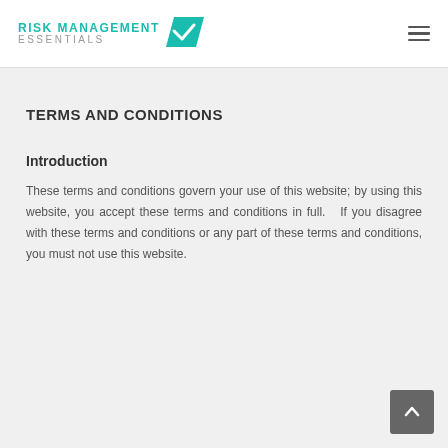RISK MANAGEMENT ESSENTIALS
TERMS AND CONDITIONS
Introduction
These terms and conditions govern your use of this website; by using this website, you accept these terms and conditions in full.   If you disagree with these terms and conditions or any part of these terms and conditions, you must not use this website.